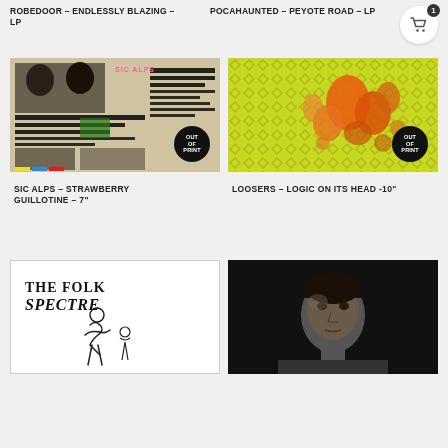ROBEDOOR – ENDLESSLY BLAZING – LP
POCAHAUNTED – PEYOTE ROAD – LP
[Figure (photo): Album cover for Sic Alps – Strawberry Guillotine – 7": collage-style black and white photos with black redacted bars, OUT OF PRINT badge]
[Figure (photo): Album cover for Loosers – Logic on Its Head -10": yellow-green textured background with orange mushroom-like shapes, OUT OF PRINT badge]
SIC ALPS – STRAWBERRY GUILLOTINE – 7"
LOOSERS – LOGIC ON ITS HEAD -10"
[Figure (illustration): Album cover for The Folk Spectre: white background with hand-drawn text 'THE FOLK SPECTRE' and sketch of a figure]
[Figure (photo): Black and white portrait photo of a man looking at camera, dark background]